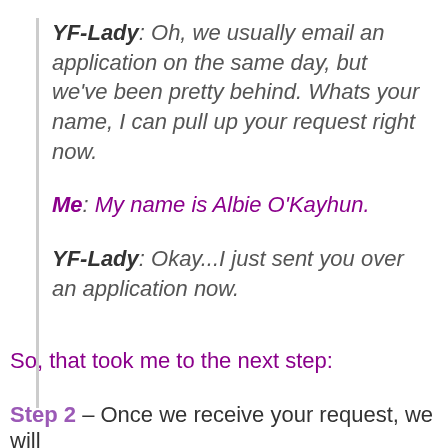YF-Lady: Oh, we usually email an application on the same day, but we've been pretty behind. Whats your name, I can pull up your request right now.
Me: My name is Albie O'Kayhun.
YF-Lady: Okay...I just sent you over an application now.
So, that took me to the next step:
Step 2 – Once we receive your request, we will